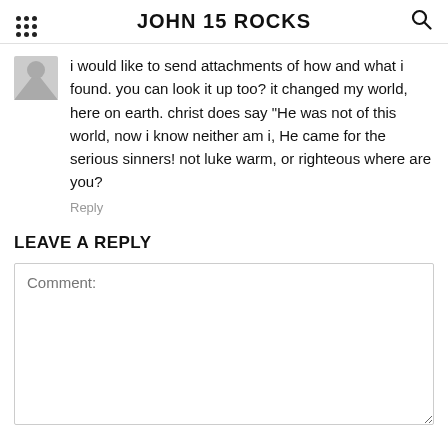JOHN 15 ROCKS
i would like to send attachments of how and what i found. you can look it up too? it changed my world, here on earth. christ does say "He was not of this world, now i know neither am i, He came for the serious sinners! not luke warm, or righteous where are you?
Reply
LEAVE A REPLY
Comment: